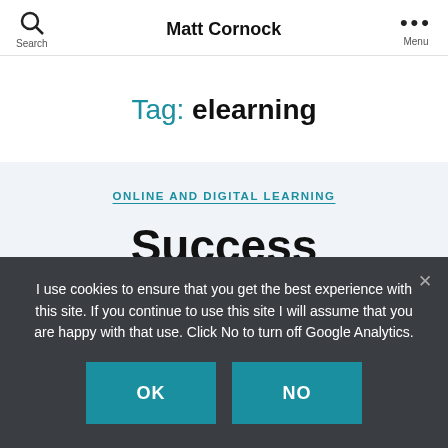Search  Matt Cornock  Menu
Tag: elearning
ONLINE AND DIGITAL LEARNING
Success measures in
I use cookies to ensure that you get the best experience with this site. If you continue to use this site I will assume that you are happy with that use. Click No to turn off Google Analytics.